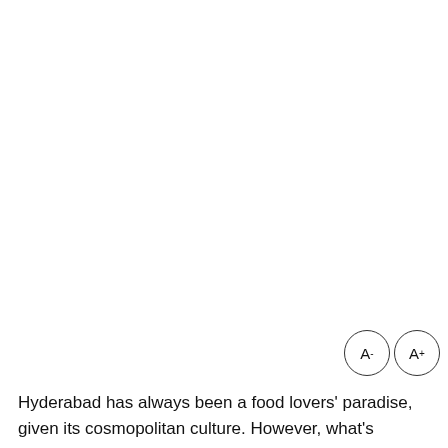[Figure (other): Two circular UI buttons labeled A- and A+ for font size adjustment]
Hyderabad has always been a food lovers' paradise, given its cosmopolitan culture. However, what's changed in recent times is that more and more migrants to the city are opening